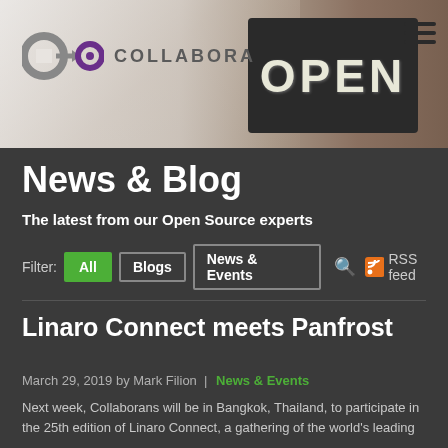[Figure (photo): Website header with Collabora logo on left, hamburger menu icon on top right, and a blackboard 'OPEN' sign photo in the background]
News & Blog
The latest from our Open Source experts
Filter: All | Blogs | News & Events | RSS feed
Linaro Connect meets Panfrost
March 29, 2019 by Mark Filion | News & Events
Next week, Collaborans will be in Bangkok, Thailand, to participate in the 25th edition of Linaro Connect, a gathering of the world's leading